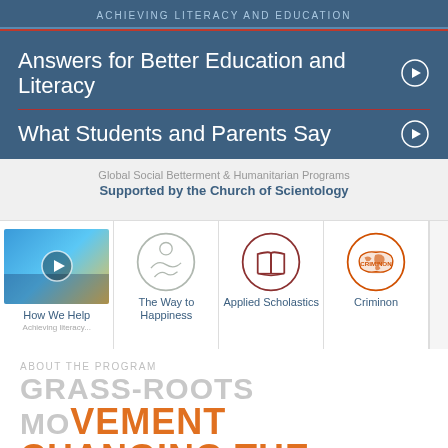ACHIEVING LITERACY AND EDUCATION
Answers for Better Education and Literacy
What Students and Parents Say
Global Social Betterment & Humanitarian Programs
Supported by the Church of Scientology
[Figure (screenshot): Video thumbnail showing 'How We Help' with play button, alongside icons for The Way to Happiness, Applied Scholastics, and Criminon]
ABOUT THE PROGRAM
GRASS-ROOTS
MO-
CH-
WORLD
[Figure (other): Green FREE DOWNLOAD button with cursor icon and upward chevron]